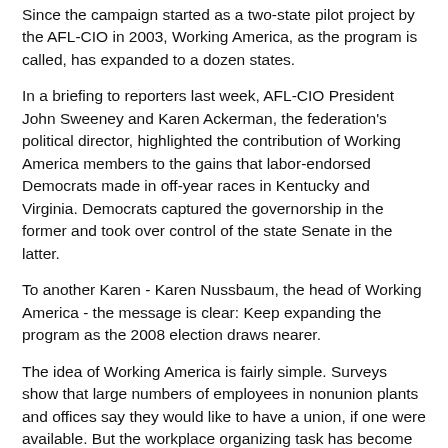Since the campaign started as a two-state pilot project by the AFL-CIO in 2003, Working America, as the program is called, has expanded to a dozen states.
In a briefing to reporters last week, AFL-CIO President John Sweeney and Karen Ackerman, the federation's political director, highlighted the contribution of Working America members to the gains that labor-endorsed Democrats made in off-year races in Kentucky and Virginia. Democrats captured the governorship in the former and took over control of the state Senate in the latter.
To another Karen - Karen Nussbaum, the head of Working America - the message is clear: Keep expanding the program as the 2008 election draws nearer.
The idea of Working America is fairly simple. Surveys show that large numbers of employees in nonunion plants and offices say they would like to have a union, if one were available. But the workplace organizing task has become much more arduous ever since President Reagan broke the strike of air traffic controllers back in 1981.